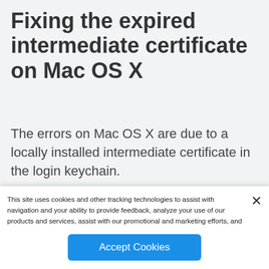Fixing the expired intermediate certificate on Mac OS X
The errors on Mac OS X are due to a locally installed intermediate certificate in the login keychain.
OS X users can resolve the
This site uses cookies and other tracking technologies to assist with navigation and your ability to provide feedback, analyze your use of our products and services, assist with our promotional and marketing efforts, and provide content from third parties. Click here to learn more and manage your preferences. Privacy Policy
Accept Cookies